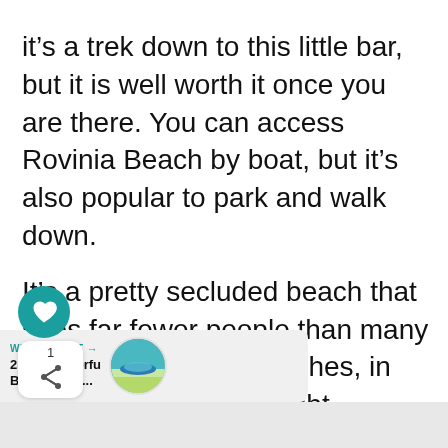it's a trek down to this little bar, but it is well worth it once you are there. You can access Rovinia Beach by boat, but it's also popular to park and walk down.
It's a pretty secluded beach that sees far fewer people than many of the other Corfu beaches, in part because of it's slight difficulty to access it. Once at the beach, you'll be able to enjoy the calm waters, and take a swim around the bay.
WHAT'S NEXT → 25 BEST Corfu Beaches To...